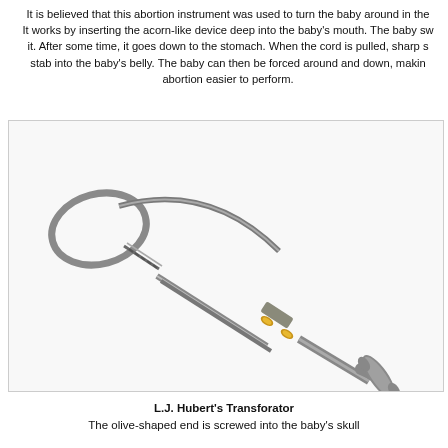It is believed that this abortion instrument was used to turn the baby around in the womb. It works by inserting the acorn-like device deep into the baby's mouth. The baby swallows it. After some time, it goes down to the stomach. When the cord is pulled, sharp spikes stab into the baby's belly. The baby can then be forced around and down, making the abortion easier to perform.
[Figure (photo): Photograph of L.J. Hubert's Transforator, a metal medical instrument with a loop/handle end on the left with a coiled spring grip, two parallel rods meeting at gold-colored adjustment rings in the middle, and a T-shaped handle on the right end. The instrument is metallic silver/chrome with gold brass fittings.]
L.J. Hubert's Transforator
The olive-shaped end is screwed into the baby's skull